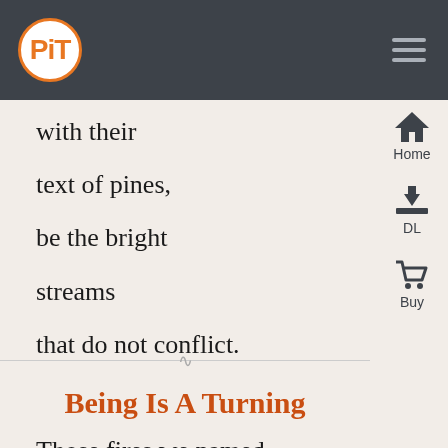PiT
with their
text of pines,
be the bright
streams
that do not conflict.
Being Is A Turning
Those fires we named,